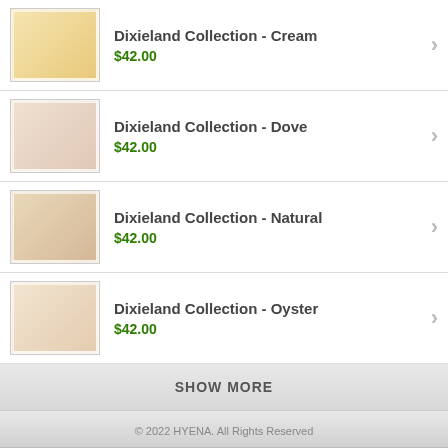Dixieland Collection - Cream $42.00
Dixieland Collection - Dove $42.00
Dixieland Collection - Natural $42.00
Dixieland Collection - Oyster $42.00
SHOW MORE
© 2022 HYENA. All Rights Reserved
VIEW FULL SITE